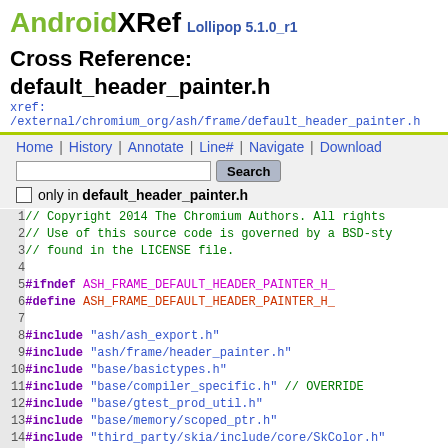AndroidXRef Lollipop 5.1.0_r1
Cross Reference: default_header_painter.h
xref: /external/chromium_org/ash/frame/default_header_painter.h
Home | History | Annotate | Line# | Navigate | Download
only in default_header_painter.h
// Copyright 2014 The Chromium Authors. All rights
// Use of this source code is governed by a BSD-sty
// found in the LICENSE file.

#ifndef ASH_FRAME_DEFAULT_HEADER_PAINTER_H_
#define ASH_FRAME_DEFAULT_HEADER_PAINTER_H_

#include "ash/ash_export.h"
#include "ash/frame/header_painter.h"
#include "base/basictypes.h"
#include "base/compiler_specific.h"  // OVERRIDE
#include "base/gtest_prod_util.h"
#include "base/memory/scoped_ptr.h"
#include "third_party/skia/include/core/SkColor.h"
#include "ui/gfx/animation/animation_delegate.h"